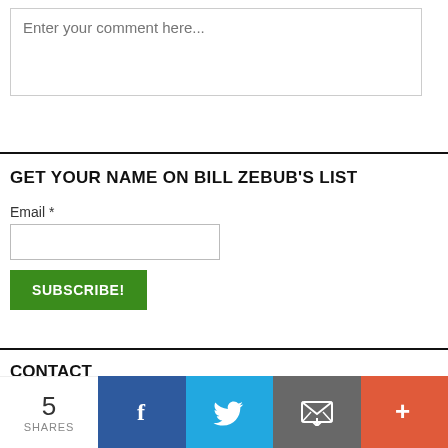Enter your comment here...
GET YOUR NAME ON BILL ZEBUB'S LIST
Email *
SUBSCRIBE!
CONTACT
5 SHARES
[Figure (other): Social share bar with Facebook, Twitter, Email, and More buttons]